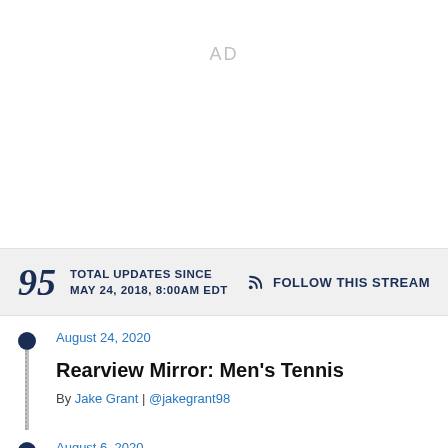[Figure (other): AD placeholder area]
95 TOTAL UPDATES SINCE MAY 24, 2018, 8:00AM EDT
FOLLOW THIS STREAM
August 24, 2020
Rearview Mirror: Men's Tennis
By Jake Grant | @jakegrant98
August 6, 2020